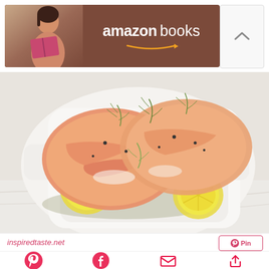[Figure (screenshot): Amazon Books advertisement banner with a person reading a book on left and Amazon Books logo with smile arrow on brown/dark red background]
[Figure (photo): Overhead photo of baked salmon fillets on lemon slices with fresh dill in a white ceramic baking dish, placed on a light marble surface]
inspiredtaste.net
[Figure (screenshot): Mobile web interface bottom bar with social sharing icons: Pinterest, Facebook, Email/envelope, and Share/upload button]